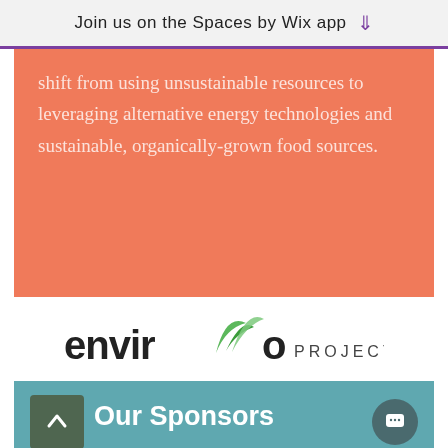Join us on the Spaces by Wix app
shift from using unsustainable resources to leveraging alternative energy technologies and sustainable, organically-grown food sources.
[Figure (logo): Enviro Project logo — 'enviro' in dark sans-serif with green leaf motif, 'PROJECT' in spaced capitals]
Our Sponsors
ork would not be possible with generous support from key friends and